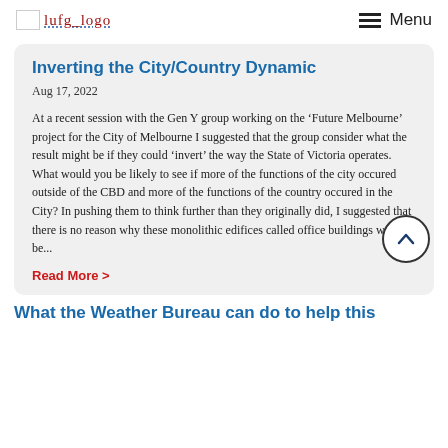[Figure (logo): lufg_logo image with text, shown as broken image placeholder with dotted underlined red/blue text]
Menu
Inverting the City/Country Dynamic
Aug 17, 2022
At a recent session with the Gen Y group working on the ‘Future Melbourne’ project for the City of Melbourne I suggested that the group consider what the result might be if they could ‘invert’ the way the State of Victoria operates. What would you be likely to see if more of the functions of the city occured outside of the CBD and more of the functions of the country occured in the City? In pushing them to think further than they originally did, I suggested that there is no reason why these monolithic edifices called office buildings would be...
Read More >
What the Weather Bureau can do to help this